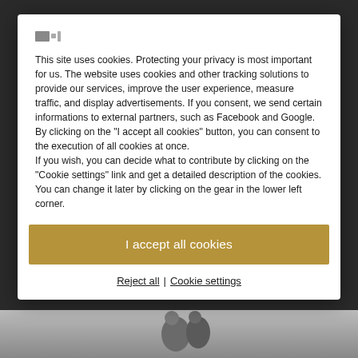[Figure (screenshot): Website cookie consent modal dialog over a dark background with a partially visible photo at the bottom]
This site uses cookies. Protecting your privacy is most important for us. The website uses cookies and other tracking solutions to provide our services, improve the user experience, measure traffic, and display advertisements. If you consent, we send certain informations to external partners, such as Facebook and Google.
By clicking on the "I accept all cookies" button, you can consent to the execution of all cookies at once.
If you wish, you can decide what to contribute by clicking on the "Cookie settings" link and get a detailed description of the cookies. You can change it later by clicking on the gear in the lower left corner.
I accept all cookies
Reject all | Cookie settings